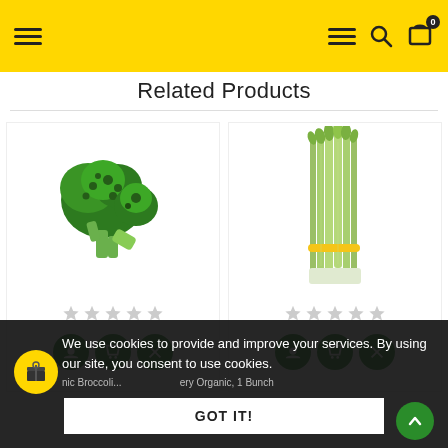Navigation header with hamburger menus, search, and cart icons
Related Products
[Figure (photo): Photo of broccoli head on white background]
[Figure (photo): Photo of bundled celery stalks tied with yellow band on white background]
We use cookies to provide and improve your services. By using our site, you consent to use cookies.
GOT IT!
nic Broccoli... ...ery Organic, 1 Bunch